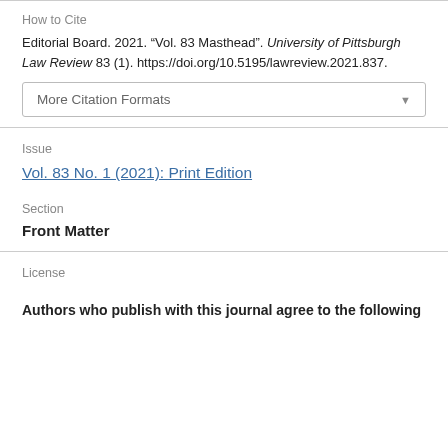How to Cite
Editorial Board. 2021. “Vol. 83 Masthead”. University of Pittsburgh Law Review 83 (1). https://doi.org/10.5195/lawreview.2021.837.
More Citation Formats
Issue
Vol. 83 No. 1 (2021): Print Edition
Section
Front Matter
License
Authors who publish with this journal agree to the following